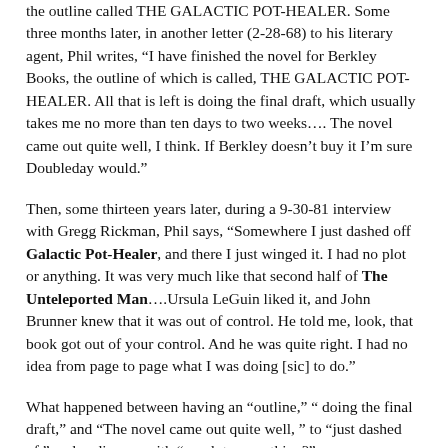the outline called THE GALACTIC POT-HEALER. Some three months later, in another letter (2-28-68) to his literary agent, Phil writes, “I have finished the novel for Berkley Books, the outline of which is called, THE GALACTIC POT-HEALER. All that is left is doing the final draft, which usually takes me no more than ten days to two weeks…. The novel came out quite well, I think. If Berkley doesn’t buy it I’m sure Doubleday would.”
Then, some thirteen years later, during a 9-30-81 interview with Gregg Rickman, Phil says, “Somewhere I just dashed off Galactic Pot-Healer, and there I just winged it. I had no plot or anything. It was very much like that second half of The Unteleported Man….Ursula LeGuin liked it, and John Brunner knew that it was out of control. He told me, look, that book got out of your control. And he was quite right. I had no idea from page to page what I was doing [sic] to do.”
What happened between having an “outline,” “ doing the final draft,” and “The novel came out quite well, ” to “just dashed of,” and ending up with “no plot or anything?”
When I’ve re-read Galactic Pot-Healer it reminds me of a lot